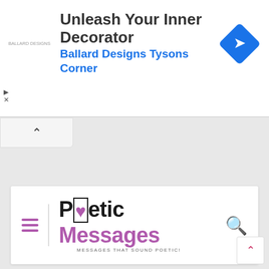[Figure (screenshot): Advertisement banner for Ballard Designs Tysons Corner with headline 'Unleash Your Inner Decorator', blue subtext 'Ballard Designs Tysons Corner', a blue diamond navigation icon on the right, and small logo text on the left.]
[Figure (logo): Poetic Messages website logo with hamburger menu icon on the left, a divider, stylized text 'Poetic Messages' with a heart in the 'o' of Poetic and 'Messages' in purple, subtitle 'MESSAGES THAT SOUND POETIC!', and a purple search icon on the right.]